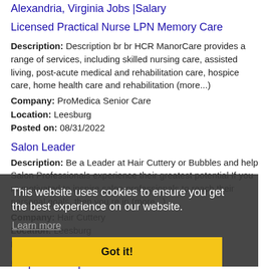Alexandria, Virginia Jobs |Salary
Licensed Practical Nurse LPN Memory Care
Description: Description br br HCR ManorCare provides a range of services, including skilled nursing care, assisted living, post-acute medical and rehabilitation care, hospice care, home health care and rehabilitation (more...)
Company: ProMedica Senior Care
Location: Leesburg
Posted on: 08/31/2022
Salon Leader
Description: Be a Leader at Hair Cuttery or Bubbles and help Salon Professionals experience their greatest potential If you re motivated to inspire salon professionals to reach their personal goals, then you re in (more...)
Company: Hair Cuttery
Location: Leesburg
Posted on: 08/31/2022
Carpenter Helper
Description: Job DescriptionDo you love being engaged in many tasks in a versatile occupation Are you passionate about the idea of building things with your own hands We are looking for an
This website uses cookies to ensure you get the best experience on our website. Learn more Got it!